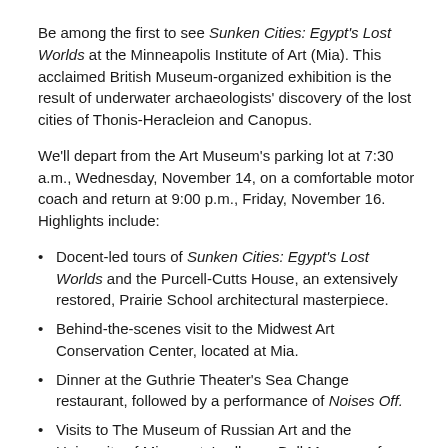Be among the first to see Sunken Cities: Egypt's Lost Worlds at the Minneapolis Institute of Art (Mia). This acclaimed British Museum-organized exhibition is the result of underwater archaeologists' discovery of the lost cities of Thonis-Heracleion and Canopus.
We'll depart from the Art Museum's parking lot at 7:30 a.m., Wednesday, November 14, on a comfortable motor coach and return at 9:00 p.m., Friday, November 16. Highlights include:
Docent-led tours of Sunken Cities: Egypt's Lost Worlds and the Purcell-Cutts House, an extensively restored, Prairie School architectural masterpiece.
Behind-the-scenes visit to the Midwest Art Conservation Center, located at Mia.
Dinner at the Guthrie Theater's Sea Change restaurant, followed by a performance of Noises Off.
Visits to The Museum of Russian Art and the University of Minnesota's all-new Bell Museum of Natural History, which opened in July.